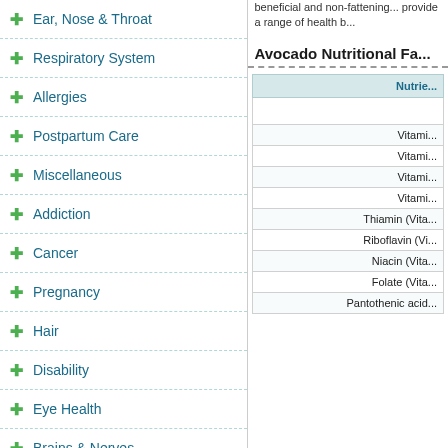Ear, Nose & Throat
Respiratory System
Allergies
Postpartum Care
Miscellaneous
Addiction
Cancer
Pregnancy
Hair
Disability
Eye Health
Brains & Nerves
Diabetes
Fitness & Wellness
Infections
Oral Health
Sex & Pregnancy
Blood, Heart & Circulation
Drugs
beneficial and non-fattening... provide a range of health b...
Avocado Nutritional Fa...
| Nutrie... |
| --- |
|  |
| Vitami... |
| Vitami... |
| Vitami... |
| Vitami... |
| Thiamin (Vit... |
| Riboflavin (Vi... |
| Niacin (Vita... |
| Folate (Vita... |
| Pantothenic acid... |